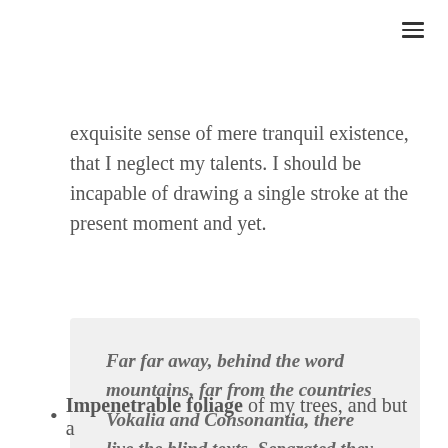≡
exquisite sense of mere tranquil existence, that I neglect my talents. I should be incapable of drawing a single stroke at the present moment and yet.
Far far away, behind the word mountains, far from the countries Vokalia and Consonantia, there live the blind texts. Separated they live in Bookmarks.
Impenetrable foliage of my trees, and but a